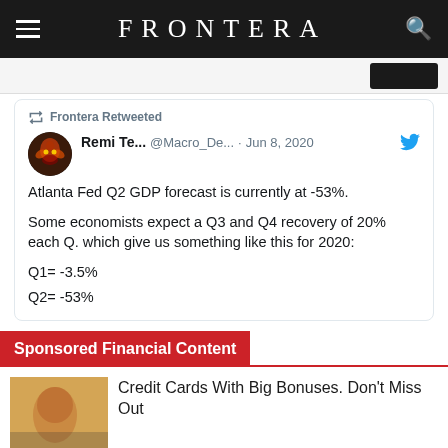FRONTERA
[Figure (screenshot): Partial top strip of a webpage with a dark button on the right]
Frontera Retweeted
Remi Te... @Macro_De... · Jun 8, 2020
Atlanta Fed Q2 GDP forecast is currently at -53%.

Some economists expect a Q3 and Q4 recovery of 20% each Q. which give us something like this for 2020:

Q1= -3.5%
Q2= -53%
Sponsored Financial Content
Credit Cards With Big Bonuses. Don't Miss Out